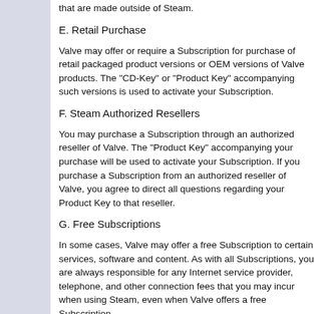that are made outside of Steam.
E. Retail Purchase
Valve may offer or require a Subscription for purchase of retail packaged product versions or OEM versions of Valve products. The "CD-Key" or "Product Key" accompanying such versions is used to activate your Subscription.
F. Steam Authorized Resellers
You may purchase a Subscription through an authorized reseller of Valve. The "Product Key" accompanying your purchase will be used to activate your Subscription. If you purchase a Subscription from an authorized reseller of Valve, you agree to direct all questions regarding your Product Key to that reseller.
G. Free Subscriptions
In some cases, Valve may offer a free Subscription to certain services, software and content. As with all Subscriptions, you are always responsible for any Internet service provider, telephone, and other connection fees that you may incur when using Steam, even when Valve offers a free Subscription.
H. Third-Party Sites
Steam may provide links to other third-party sites...